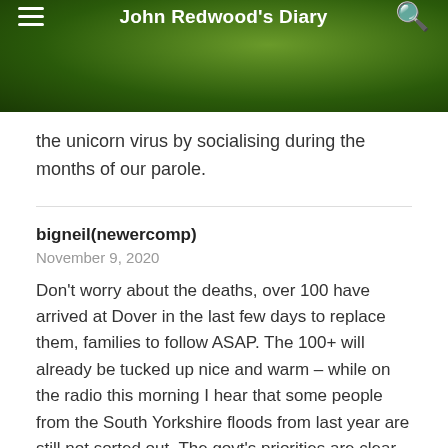John Redwood's Diary
the unicorn virus by socialising during the months of our parole.
bigneil(newercomp)
November 9, 2020
Don't worry about the deaths, over 100 have arrived at Dover in the last few days to replace them, families to follow ASAP. The 100+ will already be tucked up nice and warm – while on the radio this morning I hear that some people from the South Yorkshire floods from last year are still not sorted out. The govt's priorities are clear – – Foreigners come First".